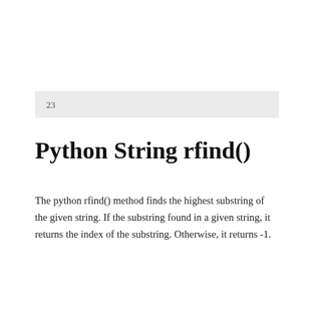23
Python String rfind()
The python rfind() method finds the highest substring of the given string. If the substring found in a given string, it returns the index of the substring. Otherwise, it returns -1.